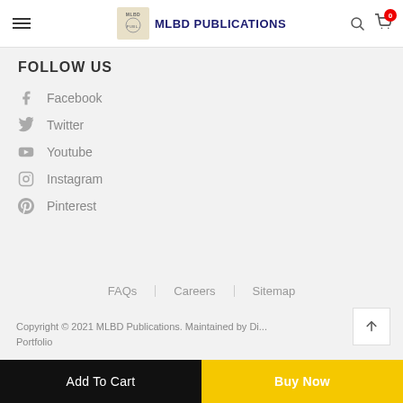MLBD PUBLICATIONS
FOLLOW US
Facebook
Twitter
Youtube
Instagram
Pinterest
FAQs | Careers | Sitemap
Copyright © 2021 MLBD Publications. Maintained by Di... Portfolio
Add To Cart
Buy Now